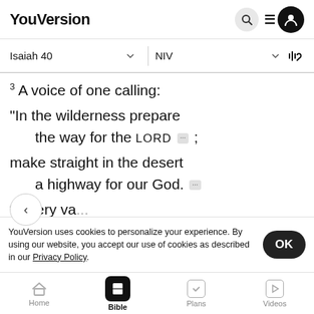YouVersion
Isaiah 40  NIV
3 A voice of one calling:
"In the wilderness prepare
    the way for the LORD ;
make straight in the desert
    a highway for our God.
4 Every va... m...
the rough ground shall become level.
YouVersion uses cookies to personalize your experience. By using our website, you accept our use of cookies as described in our Privacy Policy.
Home  Bible  Plans  Videos